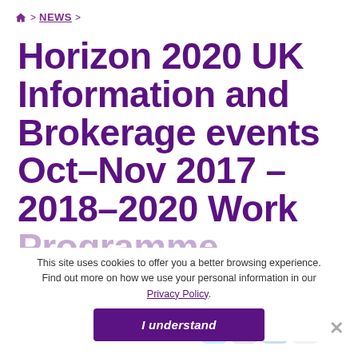🏠 > NEWS >
Horizon 2020 UK Information and Brokerage events Oct–Nov 2017 – 2018–2020 Work Programme Launch
This site uses cookies to offer you a better browsing experience. Find out more on how we use your personal information in our Privacy Policy.
Posted on: 18/09/2017